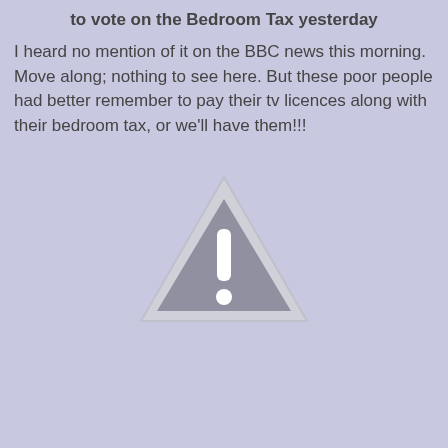to vote on the Bedroom Tax yesterday
I heard no mention of it on the BBC news this morning. Move along; nothing to see here. But these poor people had better remember to pay their tv licences along with their bedroom tax, or we'll have them!!!
[Figure (illustration): Warning triangle icon with exclamation mark, grey fill with white exclamation symbol, on lavender background]